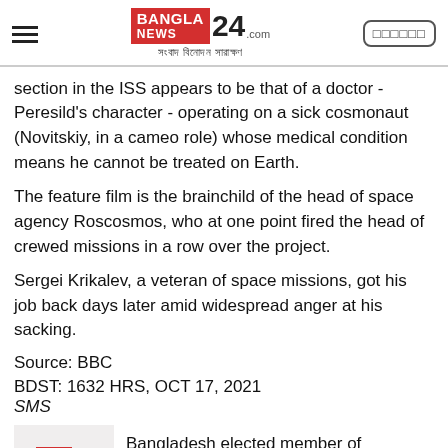Bangla News 24 - সংবাদ বিনোদন সারাক্ষণ
section in the ISS appears to be that of a doctor - Peresild's character - operating on a sick cosmonaut (Novitskiy, in a cameo role) whose medical condition means he cannot be treated on Earth.
The feature film is the brainchild of the head of space agency Roscosmos, who at one point fired the head of crewed missions in a row over the project.
Sergei Krikalev, a veteran of space missions, got his job back days later amid widespread anger at his sacking.
Source: BBC
BDST: 1632 HRS, OCT 17, 2021
SMS
Bangladesh elected member of Commonwealth's EC and AC